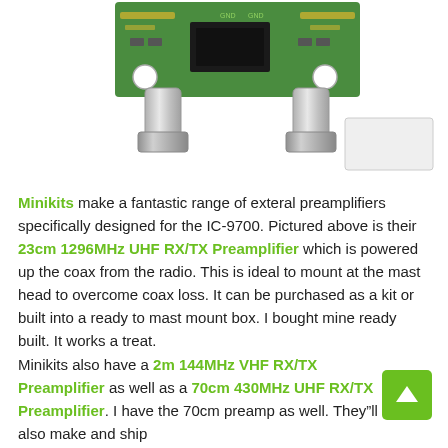[Figure (photo): Photo of Minikits 23cm 1296MHz UHF RX/TX Preamplifier circuit board with two SMA connectors]
Minikits make a fantastic range of exteral preamplifiers specifically designed for the IC-9700. Pictured above is their 23cm 1296MHz UHF RX/TX Preamplifier which is powered up the coax from the radio. This is ideal to mount at the mast head to overcome coax loss. It can be purchased as a kit or built into a ready to mast mount box. I bought mine ready built. It works a treat.
Minikits also have a 2m 144MHz VHF RX/TX Preamplifier as well as a 70cm 430MHz UHF RX/TX Preamplifier. I have the 70cm preamp as well. They"ll also make and ship